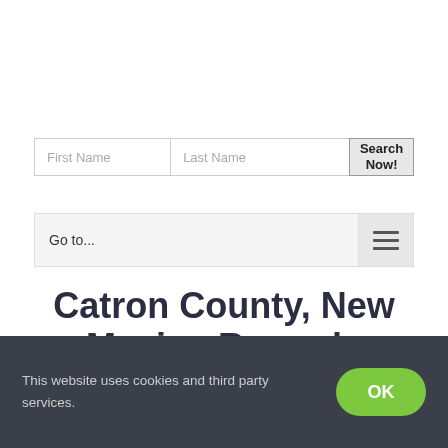[Figure (screenshot): Search form with First Name and Last Name input fields and a Search Now! button]
[Figure (screenshot): Navigation bar with Go to... text and hamburger menu icon]
Catron County, New Mexico Records
This website uses cookies and third party services.